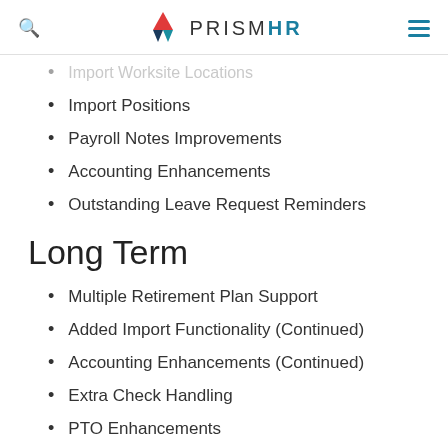PrismHR
Import Worksite Locations
Import Positions
Payroll Notes Improvements
Accounting Enhancements
Outstanding Leave Request Reminders
Long Term
Multiple Retirement Plan Support
Added Import Functionality (Continued)
Accounting Enhancements (Continued)
Extra Check Handling
PTO Enhancements
Onboarding